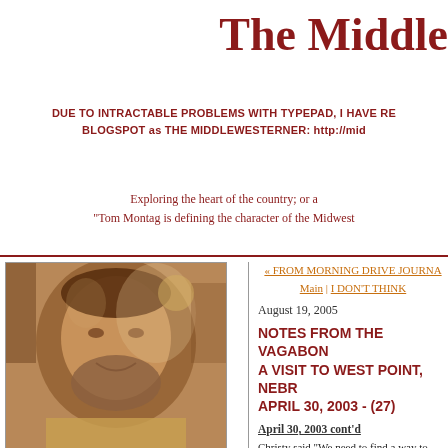The Middle
DUE TO INTRACTABLE PROBLEMS WITH TYPEPAD, I HAVE RE BLOGSPOT as THE MIDDLEWESTERNER: http://mid
Exploring the heart of the country; or a
"Tom Montag is defining the character of the Midwest
[Figure (photo): Photo of The Middlewesterner by Dave Bonta]
Photo of The Middlewesterner by Dave Bonta
« FROM MORNING DRIVE JOURNA
Main | I DON'T THINK
August 19, 2005
NOTES FROM THE VAGABON A VISIT TO WEST POINT, NEBR APRIL 30, 2003 - (27)
April 30, 2003 cont'd
Christy said "We need to find a way to help n enough that they'll get involved in the comm constant inflow and outflow of people. The l the more you feel a part of the community, t